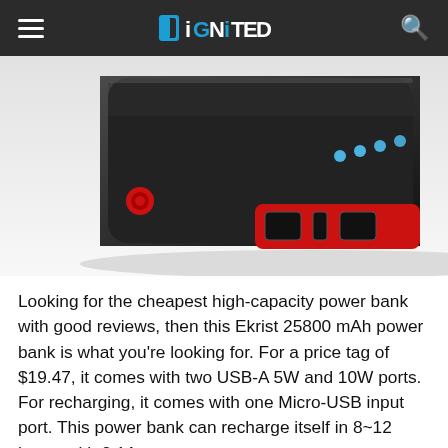DiGNiTED
[Figure (photo): Black and red Ekrist 25800 mAh power bank shown at an angle, with two USB-A ports and one Micro-USB port on the red front face, blue LED indicator lights on top, and a red power button on the side.]
Looking for the cheapest high-capacity power bank with good reviews, then this Ekrist 25800 mAh power bank is what you're looking for. For a price tag of $19.47, it comes with two USB-A 5W and 10W ports. For recharging, it comes with one Micro-USB input port. This power bank can recharge itself in 8~12 hours with 2.1A (10W) input charge, which is a long recharging period.